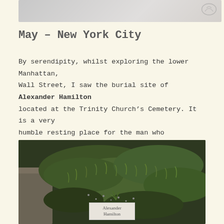[Figure (photo): Partial top image, cropped, showing light grey/beige background with a faint icon in the upper right corner]
May – New York City
By serendipity, whilst exploring the lower Manhattan, Wall Street, I saw the burial site of Alexander Hamilton located at the Trinity Church's Cemetery. It is a very humble resting place for the man who influenced and promoted the US constitution.
[Figure (photo): Photograph of Alexander Hamilton's burial site at Trinity Church's Cemetery, showing green moss and grass on a grave, with a small white plaque reading 'Alexander Hamilton']